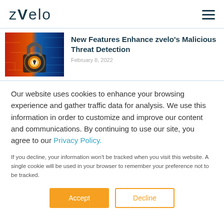zvelo
New Features Enhance zvelo's Malicious Threat Detection
February 8, 2022
[Figure (photo): A glowing padlock with circuit board background, representing cybersecurity and threat detection]
Our website uses cookies to enhance your browsing experience and gather traffic data for analysis. We use this information in order to customize and improve our content and communications. By continuing to use our site, you agree to our Privacy Policy.
If you decline, your information won't be tracked when you visit this website. A single cookie will be used in your browser to remember your preference not to be tracked.